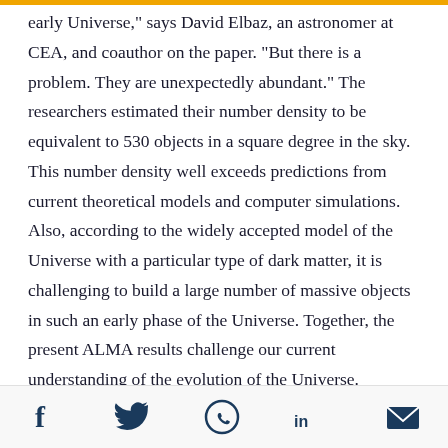early Universe," says David Elbaz, an astronomer at CEA, and coauthor on the paper. "But there is a problem. They are unexpectedly abundant." The researchers estimated their number density to be equivalent to 530 objects in a square degree in the sky. This number density well exceeds predictions from current theoretical models and computer simulations. Also, according to the widely accepted model of the Universe with a particular type of dark matter, it is challenging to build a large number of massive objects in such an early phase of the Universe. Together, the present ALMA results challenge our current understanding of the evolution of the Universe.
"Like the galaxy M87, from which astronomers recently
Social share icons: Facebook, Twitter, WhatsApp, LinkedIn, Email